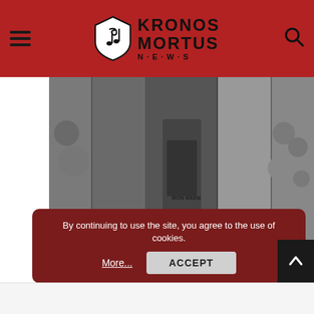KRONOS MORTUS NEWS
[Figure (photo): Black and white collage photo of band members]
MALGÖTH set release date for IRON BONEHEAD debut album, reveal first track
[Figure (other): Advertisement or embedded content block (light grey)]
By continuing to use the site, you agree to the use of cookies.
More...
ACCEPT